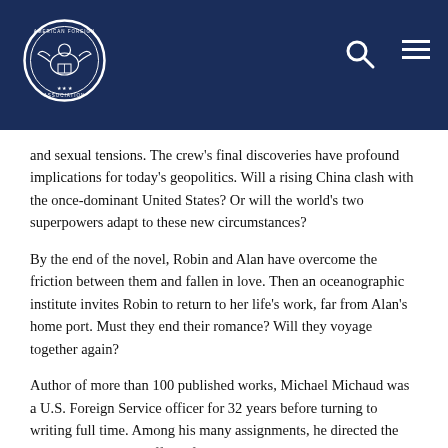[Figure (logo): American Foreign Service Association circular seal/logo in white on dark navy background, with an eagle and building motif]
and sexual tensions. The crew's final discoveries have profound implications for today's geopolitics. Will a rising China clash with the once-dominant United States? Or will the world's two superpowers adapt to these new circumstances?
By the end of the novel, Robin and Alan have overcome the friction between them and fallen in love. Then an oceanographic institute invites Robin to return to her life's work, far from Alan's home port. Must they end their romance? Will they voyage together again?
Author of more than 100 published works, Michael Michaud was a U.S. Foreign Service officer for 32 years before turning to writing full time. Among his many assignments, he directed the State Department's Office of Advanced Technology; served